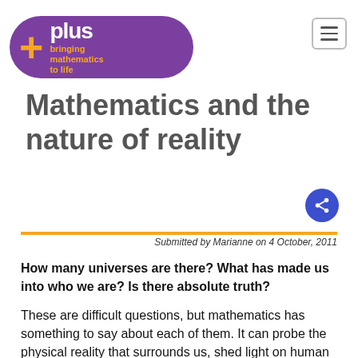[Figure (logo): Plus magazine logo — purple pill-shaped badge with '+plus' in white/orange and tagline 'bringing mathematics to life' in orange text]
Mathematics and the nature of reality
Submitted by Marianne on 4 October, 2011
How many universes are there? What has made us into who we are? Is there absolute truth?
These are difficult questions, but mathematics has something to say about each of them. It can probe the physical reality that surrounds us, shed light on human interaction and psychology, and it answers, as well as raises, many of the philosophical questions our minds have allowed us to dream up.